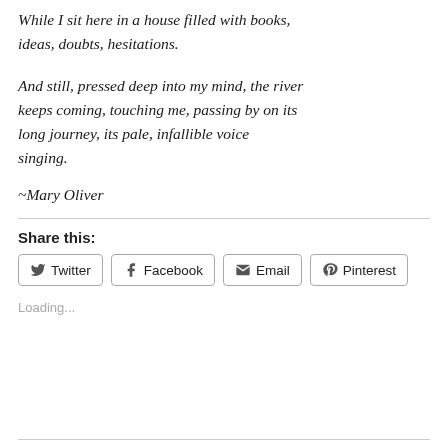While I sit here in a house filled with books, ideas, doubts, hesitations.

And still, pressed deep into my mind, the river keeps coming, touching me, passing by on its long journey, its pale, infallible voice singing.
~Mary Oliver
Share this:
Twitter  Facebook  Email  Pinterest
Loading...